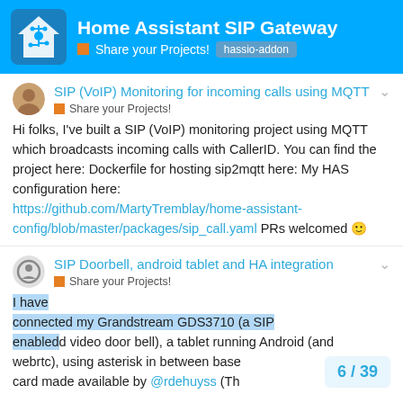Home Assistant SIP Gateway | Share your Projects! | hassio-addon
SIP (VoIP) Monitoring for incoming calls using MQTT
Share your Projects!
Hi folks, I've built a SIP (VoIP) monitoring project using MQTT which broadcasts incoming calls with CallerID. You can find the project here: Dockerfile for hosting sip2mqtt here: My HAS configuration here: https://github.com/MartyTremblay/home-assistant-config/blob/master/packages/sip_call.yaml PRs welcomed 🙂
SIP Doorbell, android tablet and HA integration
Share your Projects!
I have connected my Grandstream GDS3710 (a SIP enabled video door bell), a tablet running Android (and webrtc), using asterisk in between base card made available by @rdehuyss (Th
6 / 39